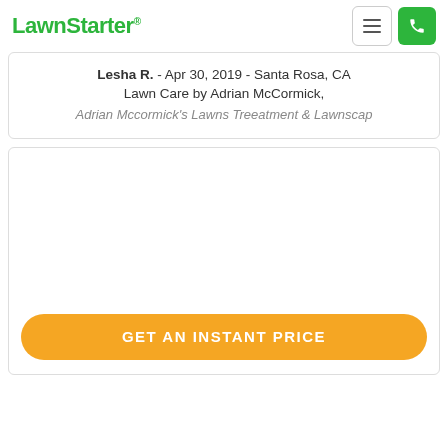LawnStarter
Lesha R. - Apr 30, 2019 - Santa Rosa, CA
Lawn Care by Adrian McCormick,
Adrian Mccormick's Lawns Treeatment & Lawnscap
GET AN INSTANT PRICE